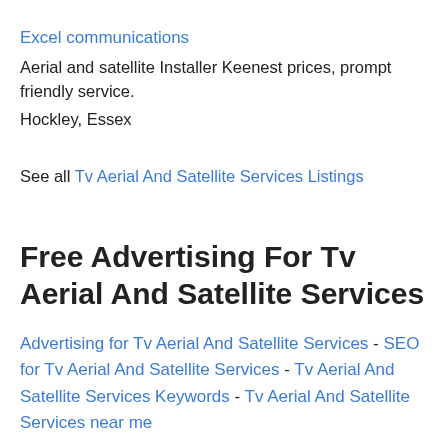Excel communications
Aerial and satellite Installer Keenest prices, prompt friendly service.
Hockley, Essex
See all Tv Aerial And Satellite Services Listings
Free Advertising For Tv Aerial And Satellite Services
Advertising for Tv Aerial And Satellite Services - SEO for Tv Aerial And Satellite Services - Tv Aerial And Satellite Services Keywords - Tv Aerial And Satellite Services near me